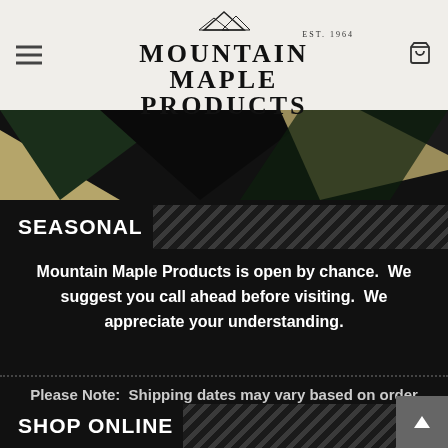Mountain Maple Products — Est. 1964
[Figure (illustration): Decorative mountain landscape banner with dark green, black, and tan/khaki triangular geometric shapes]
SEASONAL
Mountain Maple Products is open by chance. We suggest you call ahead before visiting. We appreciate your understanding.
Please Note: Shipping dates may vary based on order details.
SHOP ONLINE